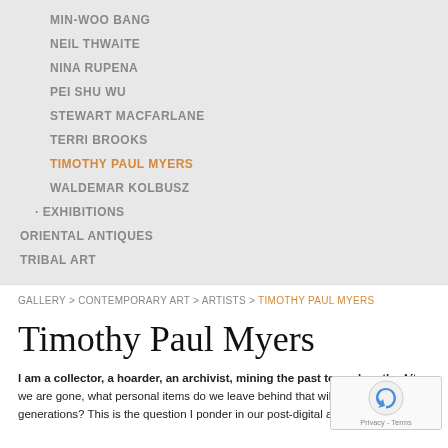MIN-WOO BANG
NEIL THWAITE
NINA RUPENA
PEI SHU WU
STEWART MACFARLANE
TERRI BROOKS
TIMOTHY PAUL MYERS
WALDEMAR KOLBUSZ
EXHIBITIONS
ORIENTAL ANTIQUES
TRIBAL ART
GALLERY > CONTEMPORARY ART > ARTISTS > TIMOTHY PAUL MYERS
Timothy Paul Myers
I am a collector, a hoarder, an archivist, mining the past to explore the After we are gone, what personal items do we leave behind that will c to future generations? This is the question I ponder in our post-digital age as I